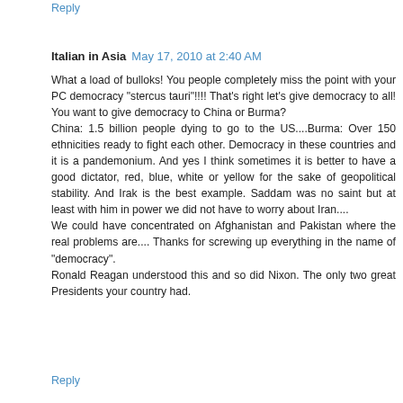Reply
Italian in Asia  May 17, 2010 at 2:40 AM
What a load of bulloks! You people completely miss the point with your PC democracy "stercus tauri"!!!! That's right let's give democracy to all! You want to give democracy to China or Burma?
China: 1.5 billion people dying to go to the US....Burma: Over 150 ethnicities ready to fight each other. Democracy in these countries and it is a pandemonium. And yes I think sometimes it is better to have a good dictator, red, blue, white or yellow for the sake of geopolitical stability. And Irak is the best example. Saddam was no saint but at least with him in power we did not have to worry about Iran....
We could have concentrated on Afghanistan and Pakistan where the real problems are.... Thanks for screwing up everything in the name of "democracy".
Ronald Reagan understood this and so did Nixon. The only two great Presidents your country had.
Reply